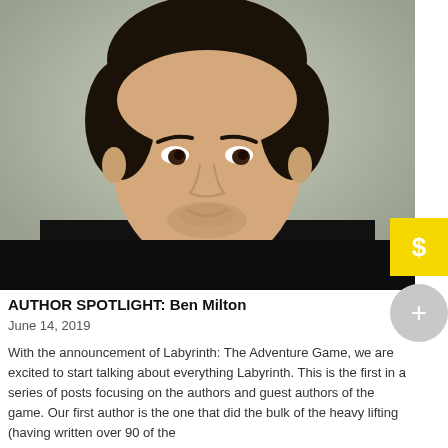[Figure (photo): Headshot photograph of Ben Milton, a man with dark hair wearing a black shirt, against a neutral gray-green background.]
AUTHOR SPOTLIGHT: Ben Milton
June 14, 2019
With the announcement of Labyrinth: The Adventure Game, we are excited to start talking about everything Labyrinth. This is the first in a series of posts focusing on the authors and guest authors of the game. Our first author is the one that did the bulk of the heavy lifting (having written over 90 of the